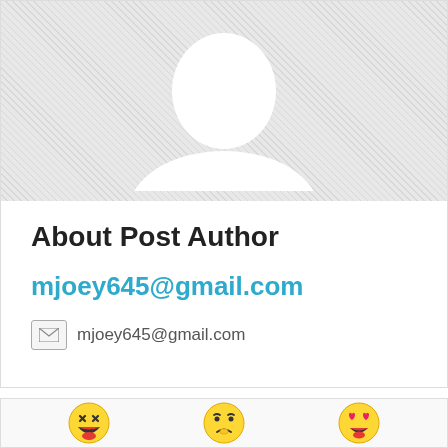[Figure (illustration): Default gray placeholder profile avatar showing silhouette of a person (head and shoulders) on a hatched gray background]
About Post Author
mjoey645@gmail.com
mjoey645@gmail.com
[Figure (illustration): Three emoji faces: laughing emoji, sad/worried emoji, and heart-eyes emoji]